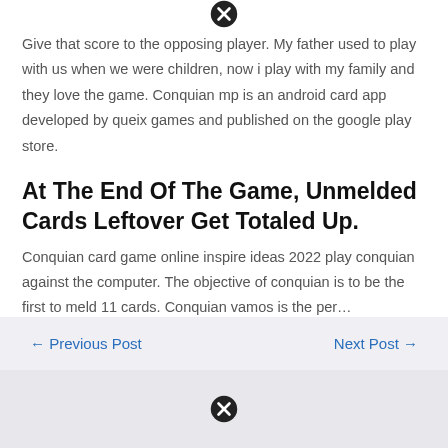[Figure (other): Close/cancel icon (circle with X) at top center]
Give that score to the opposing player. My father used to play with us when we were children, now i play with my family and they love the game. Conquian mp is an android card app developed by queix games and published on the google play store.
At The End Of The Game, Unmelded Cards Leftover Get Totaled Up.
Conquian card game online inspire ideas 2022 play conquian against the computer. The objective of conquian is to be the first to meld 11 cards. Conquian vamos is the per…
← Previous Post    Next Post →
[Figure (other): Close/cancel icon (circle with X) at bottom center]